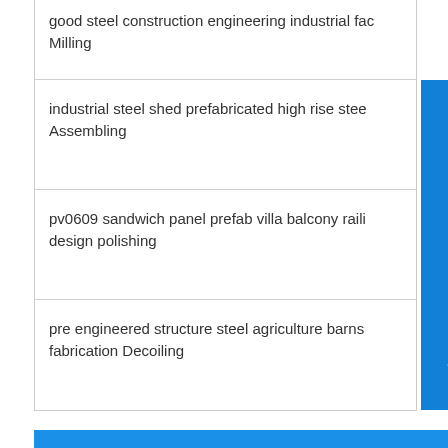good steel construction engineering industrial fac
Milling
industrial steel shed prefabricated high rise stee
Assembling
pv0609 sandwich panel prefab villa balcony raili
design polishing
pre engineered structure steel agriculture barns
fabrication Decoiling
gas filling station
maldives steel frame structure warehouse
Submerged arc welding